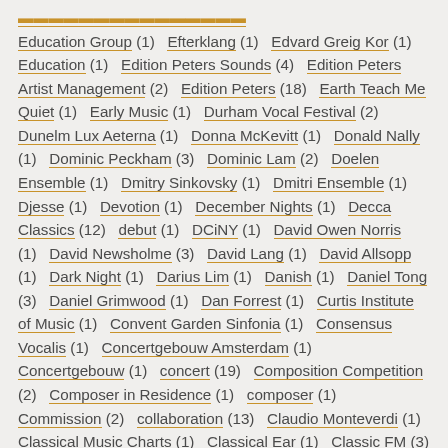Education Group (1)  Efterklang (1)  Edvard Greig Kor (1)  Education (1)  Edition Peters Sounds (4)  Edition Peters Artist Management (2)  Edition Peters (18)  Earth Teach Me Quiet (1)  Early Music (1)  Durham Vocal Festival (2)  Dunelm Lux Aeterna (1)  Donna McKevitt (1)  Donald Nally (1)  Dominic Peckham (3)  Dominic Lam (2)  Doelen Ensemble (1)  Dmitry Sinkovsky (1)  Dmitri Ensemble (1)  Djesse (1)  Devotion (1)  December Nights (1)  Decca Classics (12)  debut (1)  DCiNY (1)  David Owen Norris (1)  David Newsholme (3)  David Lang (1)  David Allsopp (1)  Dark Night (1)  Darius Lim (1)  Danish (1)  Daniel Tong (3)  Daniel Grimwood (1)  Dan Forrest (1)  Curtis Institute of Music (1)  Convent Garden Sinfonia (1)  Consensus Vocalis (1)  Concertgebouw Amsterdam (1)  Concertgebouw (1)  concert (19)  Composition Competition (2)  Composer in Residence (1)  composer (1)  Commission (2)  collaboration (13)  Claudio Monteverdi (1)  Classical Music Charts (1)  Classical Ear (1)  Classic FM (3)